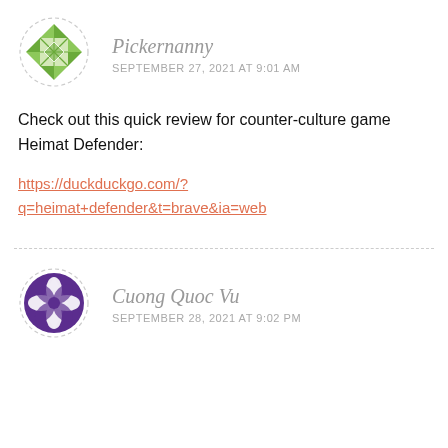[Figure (illustration): Green geometric quilt-pattern avatar for user Pickernanny, circular with dashed border]
Pickernanny
SEPTEMBER 27, 2021 AT 9:01 AM
Check out this quick review for counter-culture game Heimat Defender:
https://duckduckgo.com/?q=heimat+defender&t=brave&ia=web
[Figure (illustration): Purple geometric quilt-pattern avatar for user Cuong Quoc Vu, circular with dashed border]
Cuong Quoc Vu
SEPTEMBER 28, 2021 AT 9:02 PM